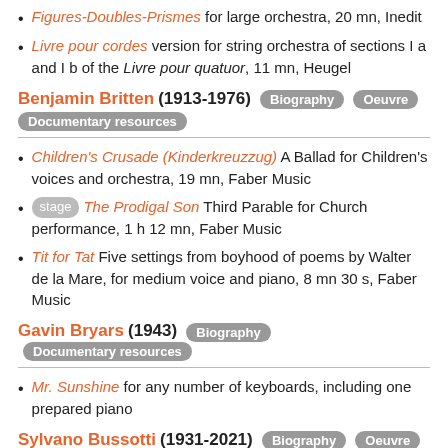Figures-Doubles-Prismes for large orchestra, 20 mn, Inedit
Livre pour cordes version for string orchestra of sections I a and I b of the Livre pour quatuor, 11 mn, Heugel
Benjamin Britten (1913-1976) Biography Oeuvre Documentary resources
Children's Crusade (Kinderkreuzzug) A Ballad for Children's voices and orchestra, 19 mn, Faber Music
stage The Prodigal Son Third Parable for Church performance, 1 h 12 mn, Faber Music
Tit for Tat Five settings from boyhood of poems by Walter de la Mare, for medium voice and piano, 8 mn 30 s, Faber Music
Gavin Bryars (1943) Biography Documentary resources
Mr. Sunshine for any number of keyboards, including one prepared piano
Sylvano Bussotti (1931-2021) Biography Oeuvre Documentary resources